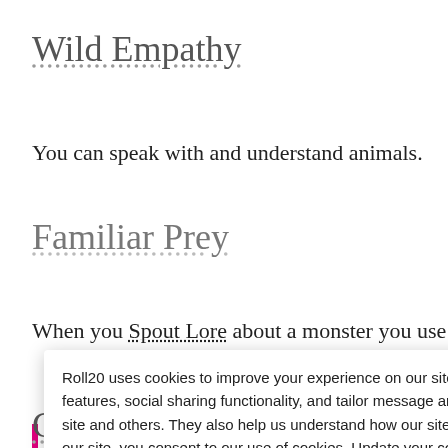Wild Empathy
You can speak with and understand animals.
Familiar Prey
When you Spout Lore about a monster you use WIS instea
Camouflage
Roll20 uses cookies to improve your experience on our site. Cookies enable you to enjoy certain features, social sharing functionality, and tailor message and display ads to your interests on our site and others. They also help us understand how our site is being used. By continuing to use our site, you consent to our use of cookies. Update your cookie preferences here.